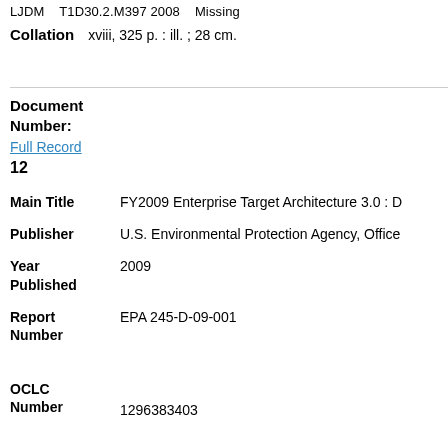LJDM   T1D30.2.M397 2008   Missing
Collation   xviii, 325 p. : ill. ; 28 cm.
Document
Number:
12
Full Record
Main Title   FY2009 Enterprise Target Architecture 3.0 : D
Publisher   U.S. Environmental Protection Agency, Office
Year Published   2009
Report Number   EPA 245-D-09-001
OCLC Number   1296383403